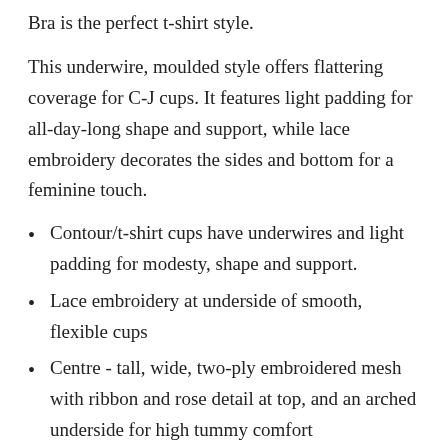Bra is the perfect t-shirt style.
This underwire, moulded style offers flattering coverage for C-J cups. It features light padding for all-day-long shape and support, while lace embroidery decorates the sides and bottom for a feminine touch.
Contour/t-shirt cups have underwires and light padding for modesty, shape and support.
Lace embroidery at underside of smooth, flexible cups
Centre - tall, wide, two-ply embroidered mesh with ribbon and rose detail at top, and an arched underside for high tummy comfort
Sewn-on elastic underband keeps fit close and secure